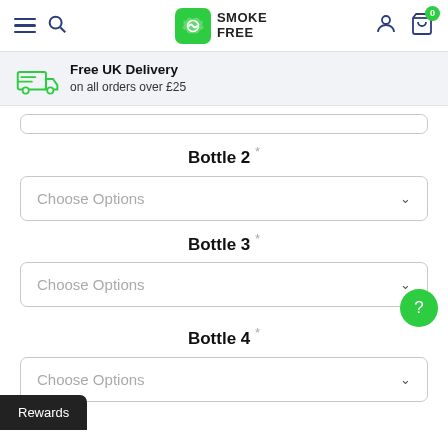Smoke Free — navigation header with hamburger menu, search, logo, user icon, cart (0)
Free UK Delivery on all orders over £25
Bottle 2 *
Choose Options
Bottle 3 *
Choose Options
Bottle 4 *
Choose Options
Rewards